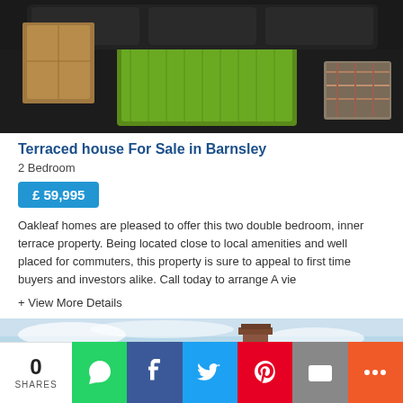[Figure (photo): Interior photo of a living room with dark leather sofas, a green shaggy rug, cardboard boxes on the left, and a plaid footstool on the right. Dark flooring visible.]
Terraced house For Sale in Barnsley
2 Bedroom
£ 59,995
Oakleaf homes are pleased to offer this two double bedroom, inner terrace property. Being located close to local amenities and well placed for commuters, this property is sure to appeal to first time buyers and investors alike. Call today to arrange A vie
+ View More Details
[Figure (photo): Exterior photo showing rooftop with a chimney stack against a cloudy blue sky.]